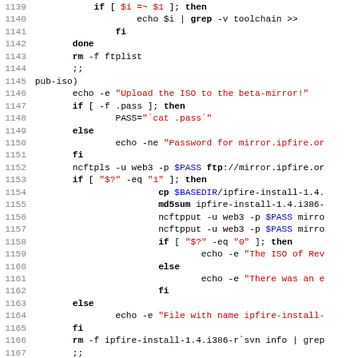[Figure (screenshot): Source code listing (shell script) with line numbers 1139-1171, showing bash script code with syntax highlighting: black bold for keywords, red for strings/echo messages, blue for variables.]